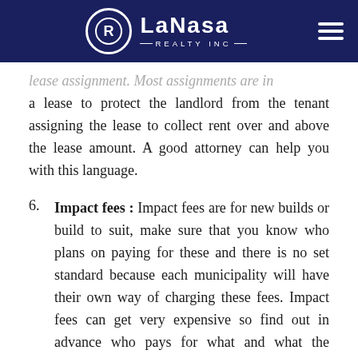LaNasa Realty Inc
lease assignment. Most assignments are in a lease to protect the landlord from the tenant assigning the lease to collect rent over and above the lease amount. A good attorney can help you with this language.
6. Impact fees : Impact fees are for new builds or build to suit, make sure that you know who plans on paying for these and there is no set standard because each municipality will have their own way of charging these fees. Impact fees can get very expensive so find out in advance who pays for what and what the municipality will expect.